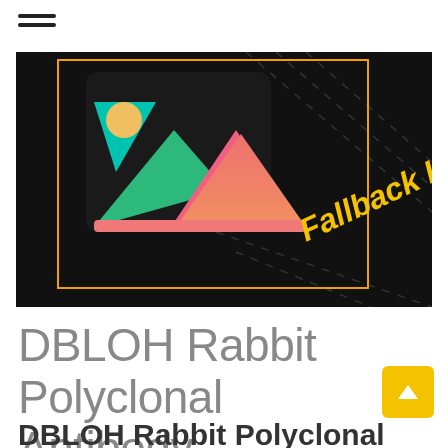☰
[Figure (illustration): A fallback image placeholder on black background with an orange border rectangle. Contains a colorful image icon (mountain/photo icon in pink and green) and large italic bold yellow text reading 'Fallback Image' rotated diagonally. Diagonal dashed white lines in background.]
DBLOH Rabbit Polyclonal Antibody
DBLOH Rabbit Polyclonal